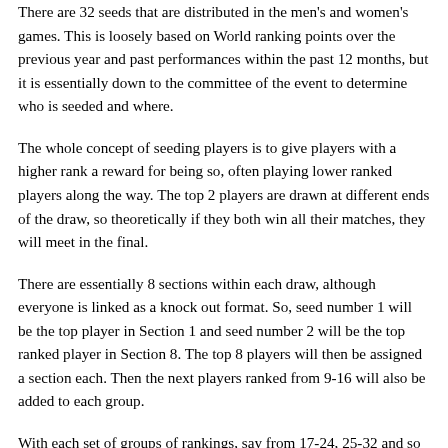There are 32 seeds that are distributed in the men's and women's games. This is loosely based on World ranking points over the previous year and past performances within the past 12 months, but it is essentially down to the committee of the event to determine who is seeded and where.
The whole concept of seeding players is to give players with a higher rank a reward for being so, often playing lower ranked players along the way. The top 2 players are drawn at different ends of the draw, so theoretically if they both win all their matches, they will meet in the final.
There are essentially 8 sections within each draw, although everyone is linked as a knock out format. So, seed number 1 will be the top player in Section 1 and seed number 2 will be the top ranked player in Section 8. The top 8 players will then be assigned a section each. Then the next players ranked from 9-16 will also be added to each group.
With each set of groups of rankings, say from 17-24, 25-32 and so on will be assigned one player from that bracket into each group. After each of the top 32 players have been